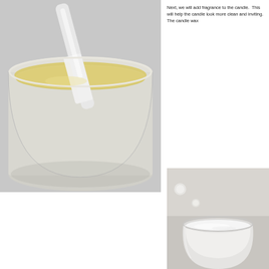[Figure (photo): Top-down view of melted yellow wax being stirred in a white plastic bucket with a white spatula/stirrer]
Next, we will add fragrance to the candle.  This will help the candle look more clean and inviting. The candle wax
[Figure (photo): Top-down view of a glass jar with white solidified candle wax, with small round wax pieces nearby on a light surface]